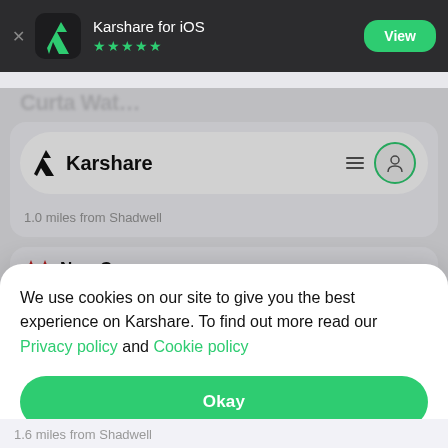[Figure (screenshot): App Store smart banner showing Karshare for iOS app icon, 5 star rating, and green View button on dark background]
[Figure (screenshot): Karshare app navigation bar with logo and hamburger/person icon buttons. Shows '1.0 miles from Shadwell' subtitle.]
New Cross
We use cookies on our site to give you the best experience on Karshare. To find out more read our Privacy policy and Cookie policy
Okay
1.6 miles from Shadwell